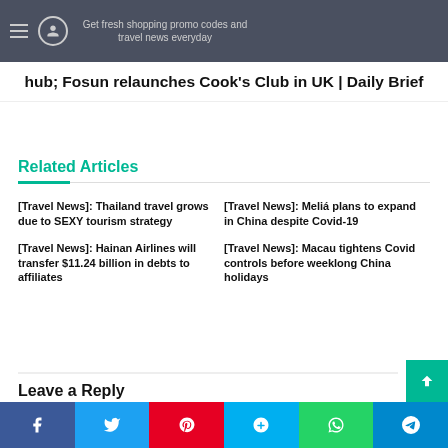Get fresh shopping promo codes and travel news everyday
hub; Fosun relaunches Cook's Club in UK | Daily Brief
Related Articles
[Travel News]: Thailand travel grows due to SEXY tourism strategy
[Travel News]: Meliá plans to expand in China despite Covid-19
[Travel News]: Hainan Airlines will transfer $11.24 billion in debts to affiliates
[Travel News]: Macau tightens Covid controls before weeklong China holidays
Leave a Reply
Facebook | Twitter | Pinterest | Skype | WhatsApp | Telegram